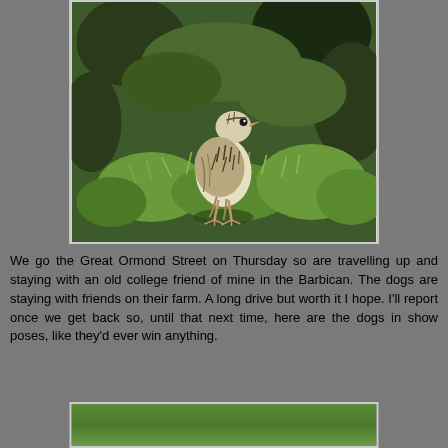[Figure (photo): A small spotted bird (meadow pipit or similar) standing on green mossy/gorse vegetation, photographed close-up against a blurred dark green background.]
We go the Great Ormond Street on Thursday so are travelling up and staying with an old college friend of mine in the Barbican. The dogs are staying with friends on their farm. A long drive but worth it I hope. I'll report once we get back so, until that next time, here are the dogs in show poses, like they'd ever win anything.
[Figure (photo): Partial view of a green grassy area, bottom of page, cropped.]